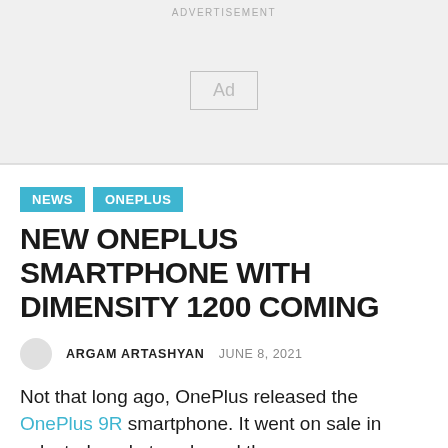ADVERTISEMENT
[Figure (other): Advertisement placeholder box with 'Ad' label]
NEWS   ONEPLUS
NEW ONEPLUS SMARTPHONE WITH DIMENSITY 1200 COMING
ARGAM ARTASHYAN   JUNE 8, 2021
Not that long ago, OnePlus released the OnePlus 9R smartphone. It went on sale in selected markets only and there was no information whether the company is going to